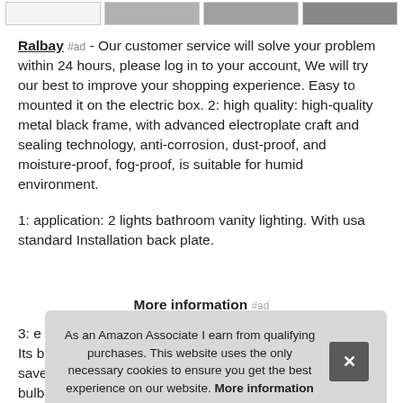[Figure (photo): Row of four product thumbnail images at the top of the page]
Ralbay #ad - Our customer service will solve your problem within 24 hours, please log in to your account, We will try our best to improve your shopping experience. Easy to mounted it on the electric box. 2: high quality: high-quality metal black frame, with advanced electroplate craft and sealing technology, anti-corrosion, dust-proof, and moisture-proof, fog-proof, is suitable for humid environment.
1: application: 2 lights bathroom vanity lighting. With usa standard Installation back plate.
More information #ad
3: e... Its b... save... bulbs and lifespan up to 50, 000hours.
As an Amazon Associate I earn from qualifying purchases. This website uses the only necessary cookies to ensure you get the best experience on our website. More information